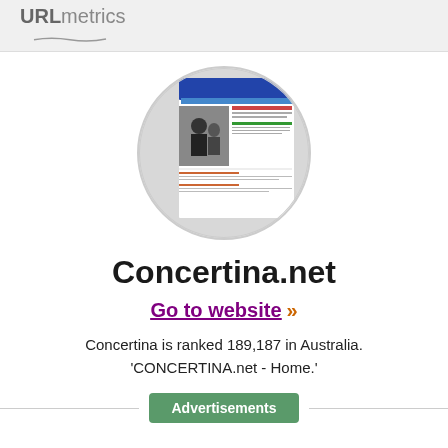URLmetrics
[Figure (screenshot): Circular cropped screenshot of the Concertina.net website homepage showing a music-related website with text and images]
Concertina.net
Go to website >>
Concertina is ranked 189,187 in Australia. 'CONCERTINA.net - Home.'
Advertisements